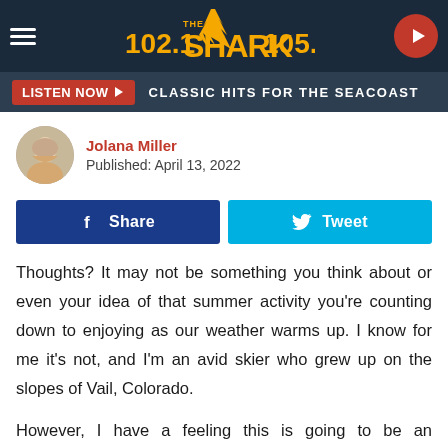[Figure (logo): 102.1 The Shark 105.3 radio station logo with navigation header bar including hamburger menu and play button]
LISTEN NOW ▶   CLASSIC HITS FOR THE SEACOAST
Jolana Miller
Published: April 13, 2022
Share   Tweet
Thoughts?  It may not be something you think about or even your idea of that summer activity you're counting down to enjoying as our weather warms up.  I know for me it's not, and I'm an avid skier who grew up on the slopes of Vail, Colorado.
However, I have a feeling this is going to be an incredible winner for Killington Ski Resort.   According to WWLP, Vermont's Killington Resort says that you can now ski all